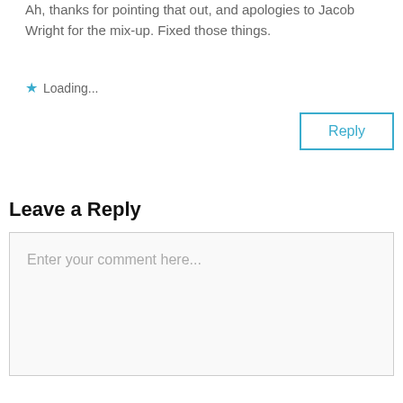Ah, thanks for pointing that out, and apologies to Jacob Wright for the mix-up. Fixed those things.
Loading...
Reply
Leave a Reply
Enter your comment here...